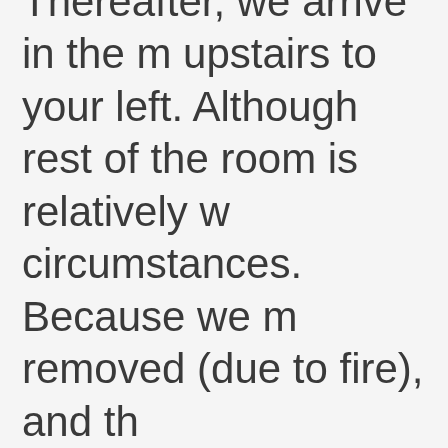Thereafter, we arrive in the m upstairs to your left. Although rest of the room is relatively w circumstances. Because we m removed (due to fire), and th